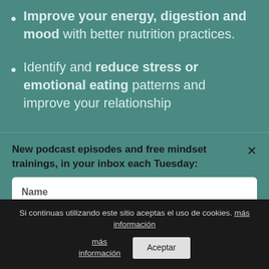Improve your energy, digestion and mood with better nutrition practices.
Identify and reduce stress or emotional eating patterns and improve your relationship
New podcast episodes and free mindset trainings, in your inbox each Tuesday:
Name
Email
Yes please!
Si continuas utilizando este sitio aceptas el uso de cookies. más información
Aceptar